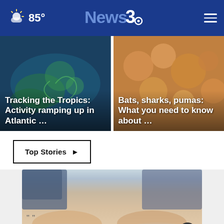85° News3
[Figure (photo): Tropical storm radar image with headline: Tracking the Tropics: Activity ramping up in Atlantic ...]
[Figure (photo): Blurred orange pumpkins background with headline: Bats, sharks, pumas: What you need to know about ...]
Top Stories ▶
[Figure (photo): Advertisement image showing a person wearing beige cut-out flat shoes, with a close button (×)]
" "